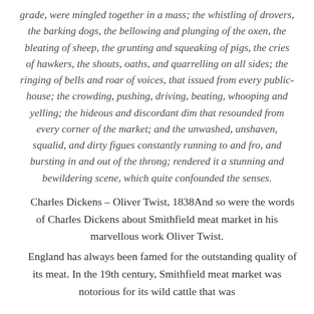grade, were mingled together in a mass; the whistling of drovers, the barking dogs, the bellowing and plunging of the oxen, the bleating of sheep, the grunting and squeaking of pigs, the cries of hawkers, the shouts, oaths, and quarrelling on all sides; the ringing of bells and roar of voices, that issued from every public-house; the crowding, pushing, driving, beating, whooping and yelling; the hideous and discordant dim that resounded from every corner of the market; and the unwashed, unshaven, squalid, and dirty figues constantly running to and fro, and bursting in and out of the throng; rendered it a stunning and bewildering scene, which quite confounded the senses.
Charles Dickens – Oliver Twist, 1838And so were the words of Charles Dickens about Smithfield meat market in his marvellous work Oliver Twist.
England has always been famed for the outstanding quality of its meat. In the 19th century, Smithfield meat market was notorious for its wild cattle that was